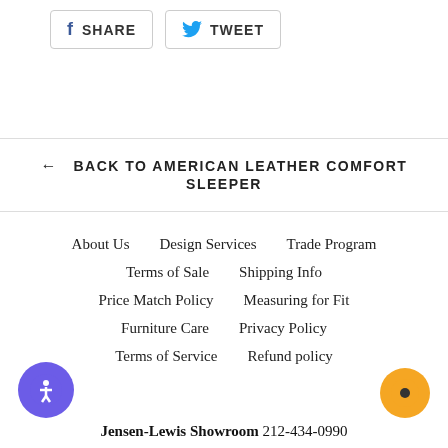SHARE
TWEET
← BACK TO AMERICAN LEATHER COMFORT SLEEPER
About Us
Design Services
Trade Program
Terms of Sale
Shipping Info
Price Match Policy
Measuring for Fit
Furniture Care
Privacy Policy
Terms of Service
Refund policy
Jensen-Lewis Showroom 212-434-0990